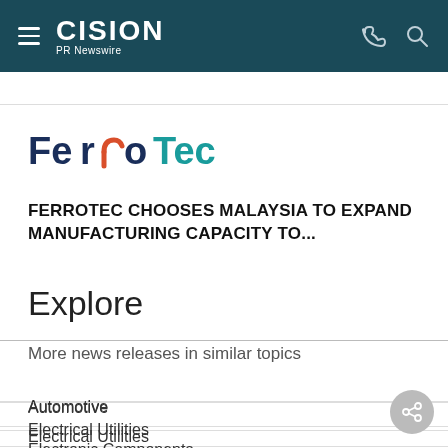CISION PR Newswire
[Figure (logo): FerroTec logo with stylized orange arrow in the letters]
FERROTEC CHOOSES MALAYSIA TO EXPAND MANUFACTURING CAPACITY TO...
Explore
More news releases in similar topics
Automotive
Electrical Utilities
Electronic Components